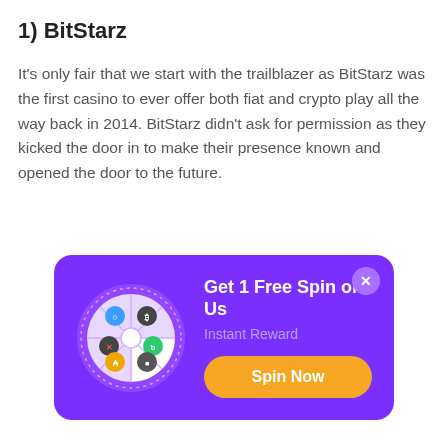1) BitStarz
It's only fair that we start with the trailblazer as BitStarz was the first casino to ever offer both fiat and crypto play all the way back in 2014. BitStarz didn't ask for permission as they kicked the door in to make their presence known and opened the door to the future.
[Figure (infographic): Purple promotional banner with a spin wheel graphic on the left showing cryptocurrency icons, a close button (X) in top right, heading 'Get 1 Free Spin on Us', subtext 'Instant Reward', and an orange 'Spin Now' button.]